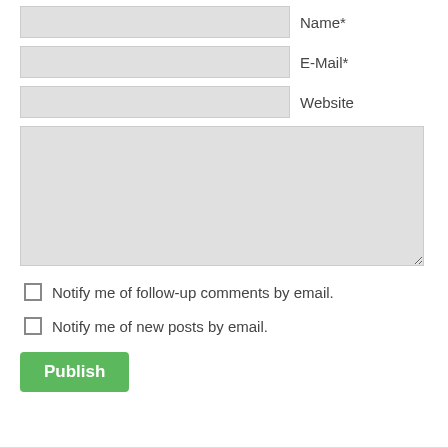Name*
E-Mail*
Website
[Figure (other): Large comment text area input box]
Notify me of follow-up comments by email.
Notify me of new posts by email.
Publish